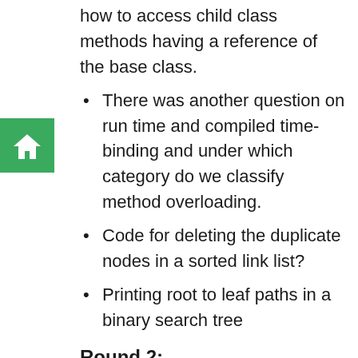how to access child class methods having a reference of the base class.
There was another question on run time and compiled time-binding and under which category do we classify method overloading.
Code for deleting the duplicate nodes in a sorted link list?
Printing root to leaf paths in a binary search tree
Round 2:
Given an array of Integers, Find two elements in the array whose sum is closest to zero?
What are virtual functions, what is their